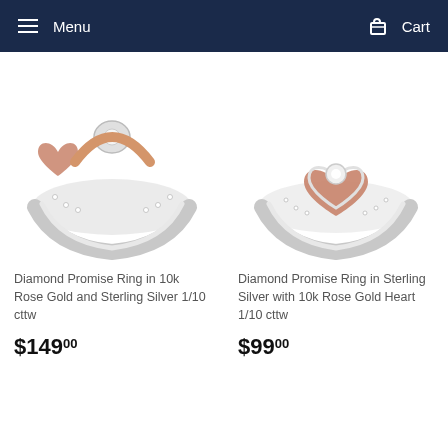Menu   Cart
[Figure (photo): Diamond Promise Ring in 10k Rose Gold and Sterling Silver, shown close up on white background]
[Figure (photo): Diamond Promise Ring in Sterling Silver with 10k Rose Gold Heart, shown close up on white background]
Diamond Promise Ring in 10k Rose Gold and Sterling Silver 1/10 cttw
Diamond Promise Ring in Sterling Silver with 10k Rose Gold Heart 1/10 cttw
$149 00
$99 00